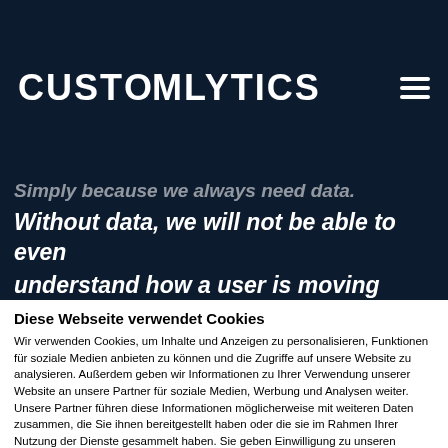CUSTOMLYTICS
Simply because we always need data.
Without data, we will not be able to even understand how a user is moving along in
Diese Webseite verwendet Cookies
Wir verwenden Cookies, um Inhalte und Anzeigen zu personalisieren, Funktionen für soziale Medien anbieten zu können und die Zugriffe auf unsere Website zu analysieren. Außerdem geben wir Informationen zu Ihrer Verwendung unserer Website an unsere Partner für soziale Medien, Werbung und Analysen weiter. Unsere Partner führen diese Informationen möglicherweise mit weiteren Daten zusammen, die Sie ihnen bereitgestellt haben oder die sie im Rahmen Ihrer Nutzung der Dienste gesammelt haben. Sie geben Einwilligung zu unseren Cookies, wenn Sie unsere Webseite weiterhin nutzen.
Nur notwendige Cookies verwenden
Cookies zulassen
Details zeigen